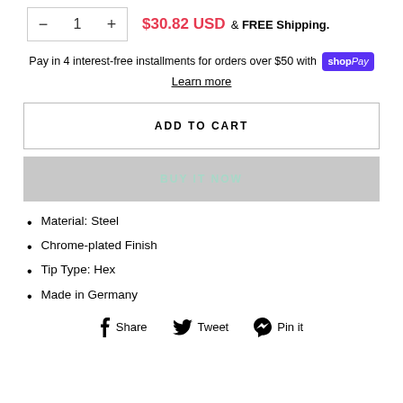$30.82 USD & FREE Shipping.
Pay in 4 interest-free installments for orders over $50 with shop Pay
Learn more
ADD TO CART
BUY IT NOW
Material: Steel
Chrome-plated Finish
Tip Type: Hex
Made in Germany
Share  Tweet  Pin it